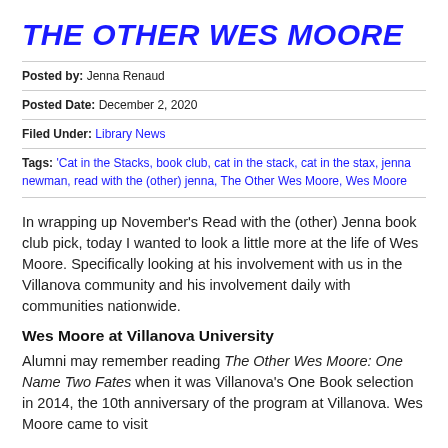THE OTHER WES MOORE
Posted by: Jenna Renaud
Posted Date: December 2, 2020
Filed Under: Library News
Tags: 'Cat in the Stacks, book club, cat in the stack, cat in the stax, jenna newman, read with the (other) jenna, The Other Wes Moore, Wes Moore
In wrapping up November's Read with the (other) Jenna book club pick, today I wanted to look a little more at the life of Wes Moore. Specifically looking at his involvement with us in the Villanova community and his involvement daily with communities nationwide.
Wes Moore at Villanova University
Alumni may remember reading The Other Wes Moore: One Name Two Fates when it was Villanova's One Book selection in 2014, the 10th anniversary of the program at Villanova. Wes Moore came to visit